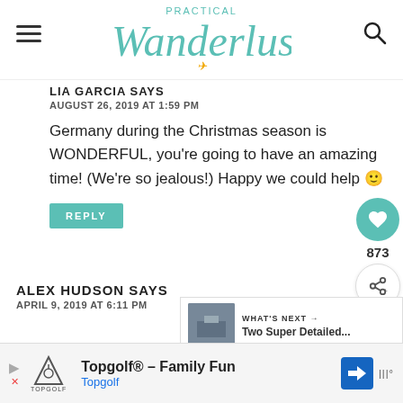Practical Wanderlust
LIA GARCIA SAYS
AUGUST 26, 2019 AT 1:59 PM

Germany during the Christmas season is WONDERFUL, you're going to have an amazing time! (We're so jealous!) Happy we could help 🙂
REPLY
ALEX HUDSON SAYS
APRIL 9, 2019 AT 6:11 PM
WHAT'S NEXT → Two Super Detailed...
[Figure (screenshot): Ad banner for Topgolf – Family Fun with Topgolf logo, navigation arrow icon, and other icons]